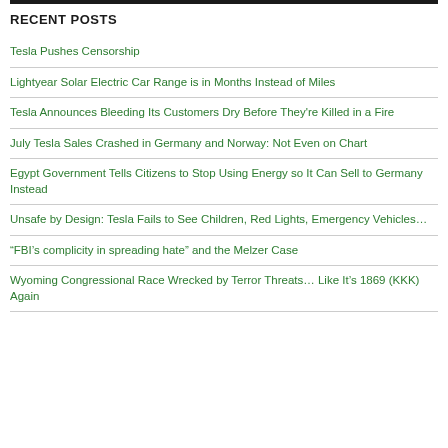RECENT POSTS
Tesla Pushes Censorship
Lightyear Solar Electric Car Range is in Months Instead of Miles
Tesla Announces Bleeding Its Customers Dry Before They're Killed in a Fire
July Tesla Sales Crashed in Germany and Norway: Not Even on Chart
Egypt Government Tells Citizens to Stop Using Energy so It Can Sell to Germany Instead
Unsafe by Design: Tesla Fails to See Children, Red Lights, Emergency Vehicles…
“FBI’s complicity in spreading hate” and the Melzer Case
Wyoming Congressional Race Wrecked by Terror Threats… Like It’s 1869 (KKK) Again